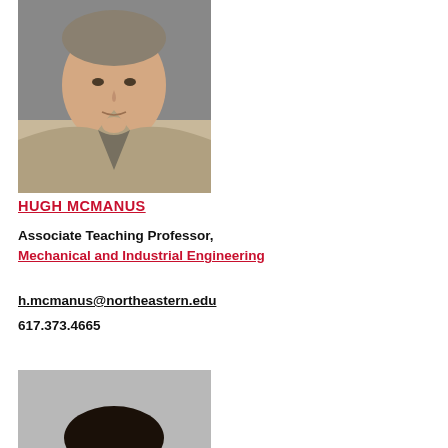[Figure (photo): Headshot of Hugh McManus, a middle-aged man in a blazer and grey shirt, photographed against a grey background.]
HUGH MCMANUS
Associate Teaching Professor,
Mechanical and Industrial Engineering
h.mcmanus@northeastern.edu
617.373.4665
[Figure (photo): Headshot of a woman with dark bangs, photographed against a grey background. Only the top portion of the photo is visible.]